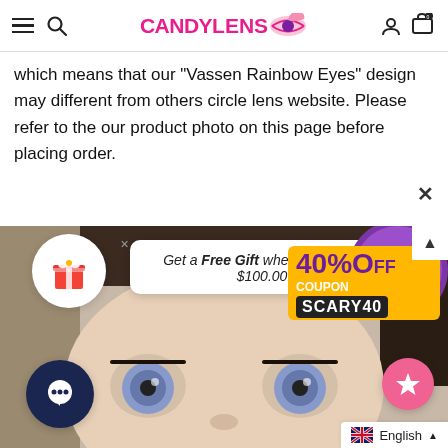CANDYLENS [logo with eye icon]
which means that our "Vassen Rainbow Eyes" design may different from others circle lens website. Please refer to the our product photo on this page before placing order.
[Figure (screenshot): Screenshot of CandyLens website showing a close-up of a person's eyes wearing circle lenses, with a popup offering a free gift when spending $100.00, and a 40% off coupon code SCARY40 badge.]